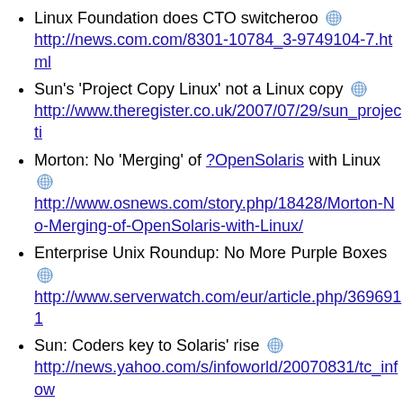Linux Foundation does CTO switcheroo http://news.com.com/8301-10784_3-9749104-7.html
Sun's 'Project Copy Linux' not a Linux copy http://www.theregister.co.uk/2007/07/29/sun_projecti
Morton: No 'Merging' of ?OpenSolaris with Linux http://www.osnews.com/story.php/18428/Morton-No-Merging-of-OpenSolaris-with-Linux/
Enterprise Unix Roundup: No More Purple Boxes http://www.serverwatch.com/eur/article.php/3696911
Sun: Coders key to Solaris' rise http://news.yahoo.com/s/infoworld/20070831/tc_infow
Sun: Coders key to Solaris' rise http://www.addict3d.org/news/188876/Sun:%20Code
Sun: Coders key to Solaris' rise http://www.infoworld.com/article/07/08/31/Sun-